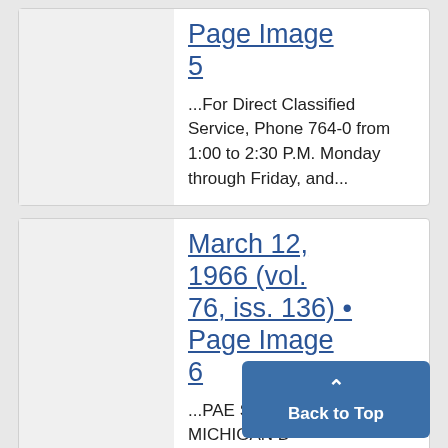Page Image 5
...For Direct Classified Service, Phone 764-0 from 1:00 to 2:30 P.M. Monday through Friday, and...
March 12, 1966 (vol. 76, iss. 136) • Page Image 6
...PAE SI THE MICHIGAN D...